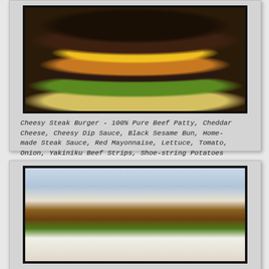[Figure (photo): Polaroid-style photo of a Cheesy Steak Burger with tall stacked layers including beef patty, cheddar cheese, lettuce, and shoe-string potatoes on top, with dark sauce drizzled throughout]
Cheesy Steak Burger - 100% Pure Beef Patty, Cheddar Cheese, Cheesy Dip Sauce, Black Sesame Bun, Homemade Steak Sauce, Red Mayonnaise, Lettuce, Tomato, Onion, Yakiniku Beef Strips, Shoe-string Potatoes
[Figure (photo): Polaroid-style photo of an open-faced burger with bacon strips, melted white cheese sauce, and brown sauce drizzled on top, sitting on lettuce, with outdoor street food setting visible in background]